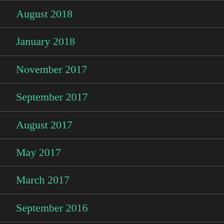August 2018
January 2018
November 2017
September 2017
August 2017
May 2017
March 2017
September 2016
August 2016
May 2016
April 2016